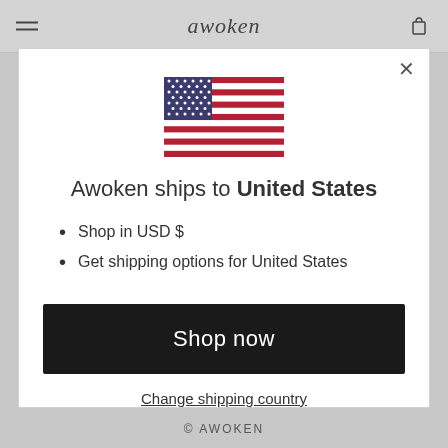awoken
[Figure (illustration): United States flag]
Awoken ships to United States
Shop in USD $
Get shipping options for United States
Shop now
Change shipping country
© AWOKEN